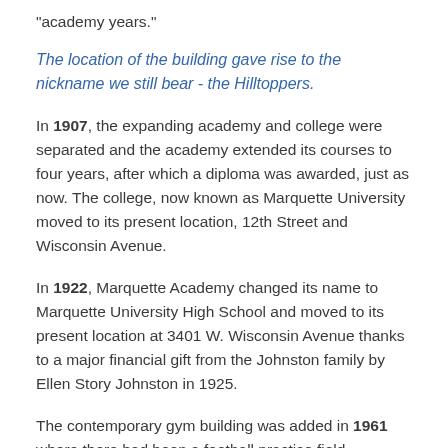"academy years."
The location of the building gave rise to the nickname we still bear - the Hilltoppers.
In 1907, the expanding academy and college were separated and the academy extended its courses to four years, after which a diploma was awarded, just as now. The college, now known as Marquette University moved to its present location, 12th Street and Wisconsin Avenue.
In 1922, Marquette Academy changed its name to Marquette University High School and moved to its present location at 3401 W. Wisconsin Avenue thanks to a major financial gift from the Johnston family by Ellen Story Johnston in 1925.
The contemporary gym building was added in 1961 where there had been a football practice field -